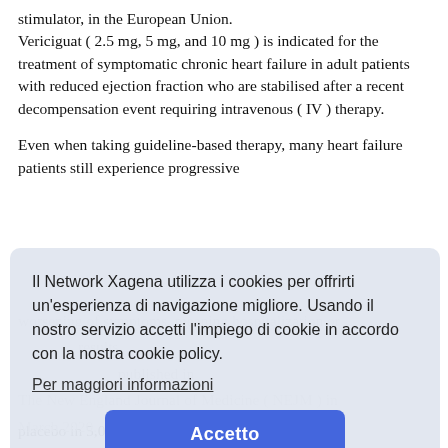stimulator, in the European Union. Vericiguat ( 2.5 mg, 5 mg, and 10 mg ) is indicated for the treatment of symptomatic chronic heart failure in adult patients with reduced ejection fraction who are stabilised after a recent decompensation event requiring intravenous ( IV ) therapy.
Even when taking guideline-based therapy, many heart failure patients still experience progressive worsening of symptoms, meaning hospitalization or... results... published in The New England Journal of Medicine (NEJM) in March 2020. VICTORIA was a randomized, parallel-group, placebo-controlled, double-blind, event-driven, multi-center clinical trial comparing Vericiguat to placebo in 5,050 adult patients with symptomatic
Il Network Xagena utilizza i cookies per offrirti un'esperienza di navigazione migliore. Usando il nostro servizio accetti l'impiego di cookie in accordo con la nostra cookie policy.
Per maggiori informazioni
Accetto